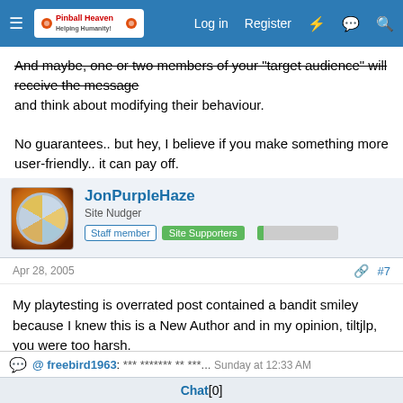Pinball Heaven | Log in | Register
And maybe, one or two members of your "target audience" will receive the message and think about modifying their behaviour.

No guarantees.. but hey, I believe if you make something more user-friendly.. it can pay off.
Reply
JonPurpleHaze
Site Nudger | Staff member | Site Supporters
Apr 28, 2005  #7
My playtesting is overrated post contained a bandit smiley because I knew this is a New Author and in my opinion, tiltjlp, you were too harsh.
@ freebird1963: *** ******* ** ***...  Sunday at 12:33 AM
Chat [0]